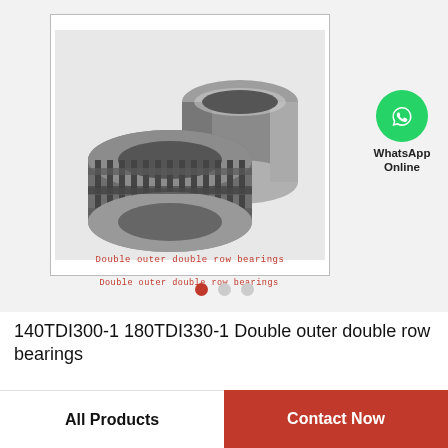[Figure (photo): Two needle roller bearing components: a double-row needle bearing cage assembly and a cylindrical outer ring, shown on white background]
Double outer double row bearings
[Figure (other): WhatsApp Online green circle logo with phone icon]
140TDI300-1 180TDI330-1 Double outer double row bearings
All Products | Contact Now